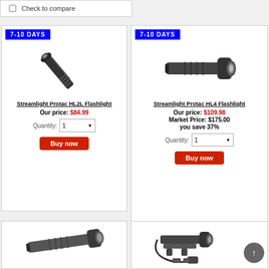Check to compare
[Figure (photo): Streamlight Protac HL2L Flashlight product image - slim pen-style black flashlight]
Streamlight Protac HL2L Flashlight
Our price: $84.99
Quantity: 1
Buy now
[Figure (photo): Streamlight Protac HL4 Flashlight product image - wider tactical black flashlight]
Streamlight Protac HL4 Flashlight
Our price: $109.98
Market Price: $175.00
you save 37%
Quantity: 1
Buy now
[Figure (photo): Another Streamlight flashlight product image - bottom left card]
[Figure (photo): Streamlight weapon light / mount accessory product image - bottom right card]